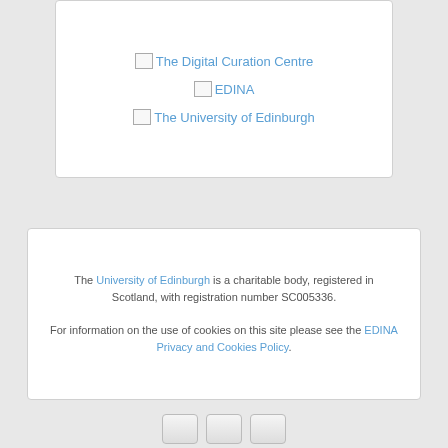[Figure (logo): Broken image placeholder for The Digital Curation Centre logo with alt text 'The Digital Curation Centre']
[Figure (logo): Broken image placeholder for EDINA logo with alt text 'EDINA']
[Figure (logo): Broken image placeholder for The University of Edinburgh logo with alt text 'The University of Edinburgh']
The University of Edinburgh is a charitable body, registered in Scotland, with registration number SC005336. For information on the use of cookies on this site please see the EDINA Privacy and Cookies Policy.
[Figure (other): Three small social media / share buttons at the bottom of the page]